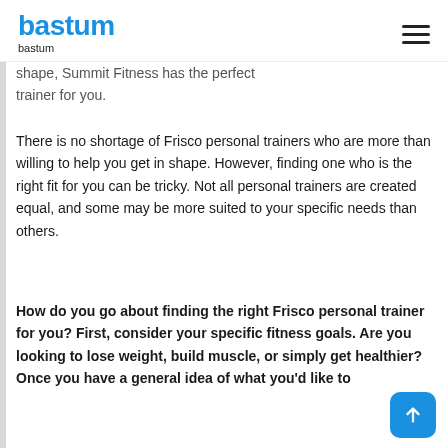bastum
bastum
shape, Summit Fitness has the perfect trainer for you.
There is no shortage of Frisco personal trainers who are more than willing to help you get in shape. However, finding one who is the right fit for you can be tricky. Not all personal trainers are created equal, and some may be more suited to your specific needs than others.
How do you go about finding the right Frisco personal trainer for you? First, consider your specific fitness goals. Are you looking to lose weight, build muscle, or simply get healthier? Once you have a general idea of what you'd like to